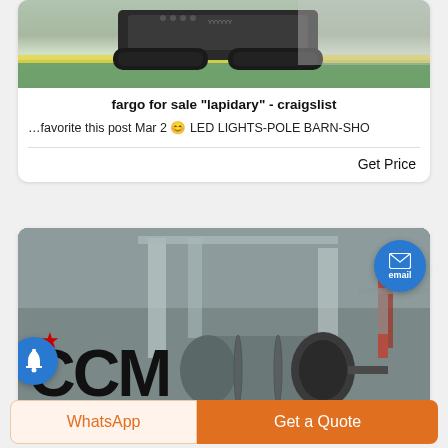[Figure (screenshot): Tracked vehicle / mini-excavator machine on green industrial floor]
fargo for sale "lapidary" - craigslist
...favorite this post Mar 2 😊 LED LIGHTS-POLE BARN-SHO
Get Price
[Figure (screenshot): Industrial ball mill with CCM logo in a factory setting]
WhatsApp
Get a Quote